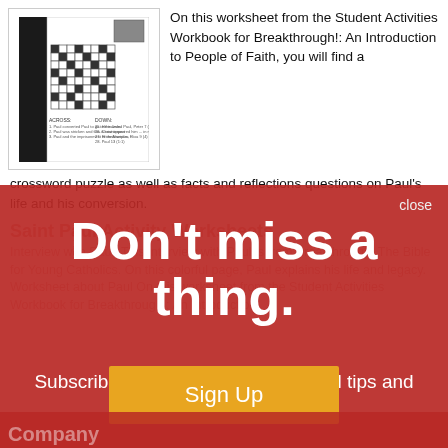[Figure (illustration): Book cover showing 'PAUL' with a crossword puzzle worksheet from Student Activities Workbook for Breakthrough: An Introduction to People of Faith]
On this worksheet from the Student Activities Workbook for Breakthrough!: An Introduction to People of Faith, you will find a crossword puzzle as well as facts and reflections questions on Paul's life and his conversion.
Saint Paul Activity Worksheets
Interview with Paul: This interview with Paul is from Breakthrough! The Bible for Young Catholics. On this colorful page, Paul explains his life and legacy. Worksheet about Paul On this worksheet from the Student Activities Workbook for Breakthrough!: An Introduction...
Don't miss a thing.
Subscribe to our emails to get useful tips and special promotions.
Sign Up
close
Company